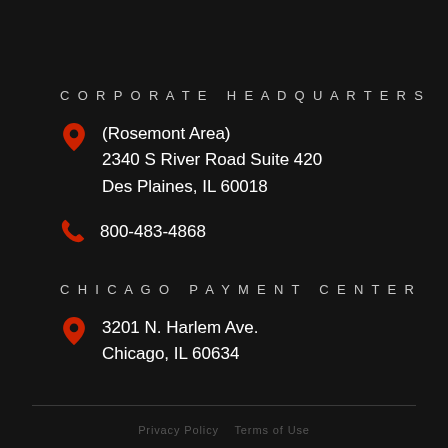CORPORATE HEADQUARTERS
(Rosemont Area)
2340 S River Road Suite 420
Des Plaines, IL 60018
800-483-4868
CHICAGO PAYMENT CENTER
3201 N. Harlem Ave.
Chicago, IL 60634
Privacy Policy  Terms of Use